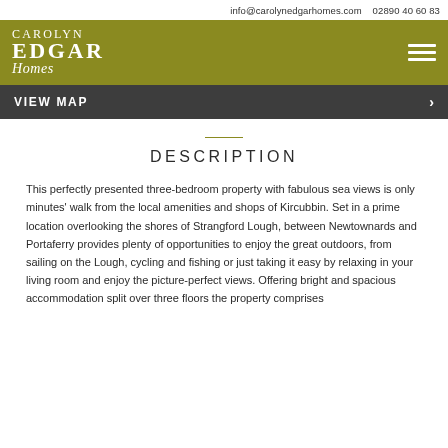info@carolynedgarhomes.com  02890 40 60 83
[Figure (logo): Carolyn Edgar Homes logo — white text on olive/gold background, with hamburger menu icon top right]
VIEW MAP ›
DESCRIPTION
This perfectly presented three-bedroom property with fabulous sea views is only minutes' walk from the local amenities and shops of Kircubbin. Set in a prime location overlooking the shores of Strangford Lough, between Newtownards and Portaferry provides plenty of opportunities to enjoy the great outdoors, from sailing on the Lough, cycling and fishing or just taking it easy by relaxing in your living room and enjoy the picture-perfect views. Offering bright and spacious accommodation split over three floors the property comprises